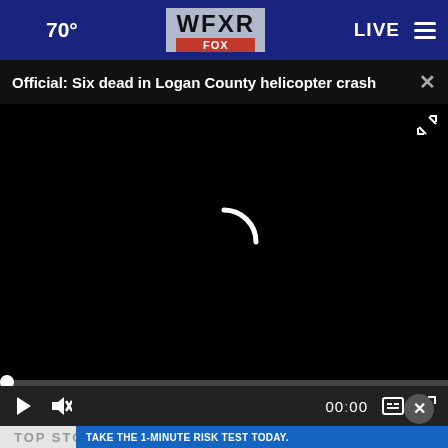70° WFXR FOX LIVE
Official: Six dead in Logan County helicopter crash
[Figure (screenshot): Video player showing black loading screen with spinning buffering indicator at center. Progress bar at bottom with white dot at left. Controls bar shows play button, mute button, timestamp 00:00, captions button, and fullscreen button.]
TOP STORIES
TAKE THE 1-MINUTE RISK TEST TODAY. DolHavePrediabetes.org